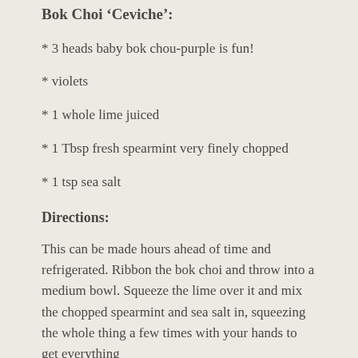Bok Choi 'Ceviche':
* 3 heads baby bok chou-purple is fun!
* violets
* 1 whole lime juiced
* 1 Tbsp fresh spearmint very finely chopped
* 1 tsp sea salt
Directions:
This can be made hours ahead of time and refrigerated. Ribbon the bok choi and throw into a medium bowl. Squeeze the lime over it and mix the chopped spearmint and sea salt in, squeezing the whole thing a few times with your hands to get everything